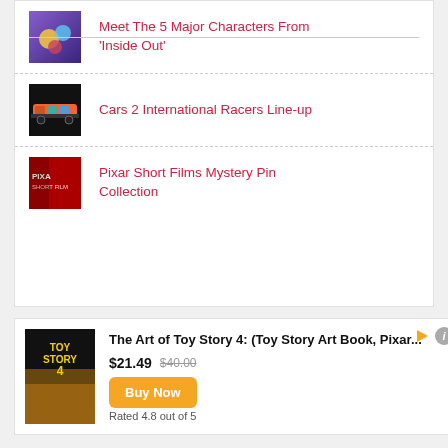Meet The 5 Major Characters From 'Inside Out'
Cars 2 International Racers Line-up
Pixar Short Films Mystery Pin Collection
[Figure (other): Advertisement for The Art of Toy Story 4 book showing product image, price $21.49 (was $40.00), rated 4.8 out of 5, with Buy Now button]